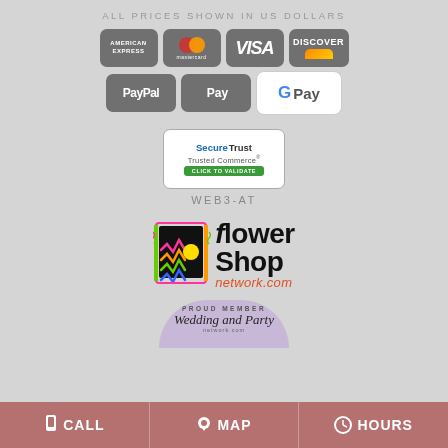ALL PRICES SHOWN IN US DOLLARS
[Figure (logo): Payment method icons: American Express, Mastercard, Visa, Discover, PayPal, Apple Pay, Google Pay]
[Figure (logo): SecureTrust Trusted Commerce - CLICK TO VALIDATE badge]
WEB3-AT
[Figure (logo): Flower Shop Network logo - flowershopnetwork.com]
[Figure (logo): Proud Member Wedding and Party badge]
CALL   MAP   HOURS